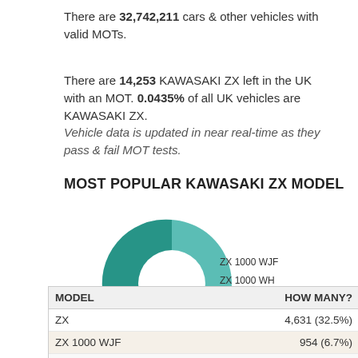There are 32,742,211 cars & other vehicles with valid MOTs.
There are 14,253 KAWASAKI ZX left in the UK with an MOT. 0.0435% of all UK vehicles are KAWASAKI ZX. Vehicle data is updated in near real-time as they pass & fail MOT tests.
MOST POPULAR KAWASAKI ZX MODEL
[Figure (donut-chart): Most Popular Kawasaki ZX Model]
| MODEL |  | HOW MANY? |
| --- | --- | --- |
| ZX |  | 4,631 (32.5%) |
| ZX 1000 WJF |  | 954 (6.7%) |